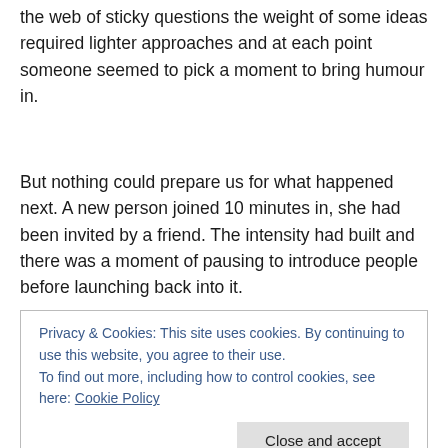the web of sticky questions the weight of some ideas required lighter approaches and at each point someone seemed to pick a moment to bring humour in.
But nothing could prepare us for what happened next. A new person joined 10 minutes in, she had been invited by a friend. The intensity had built and there was a moment of pausing to introduce people before launching back into it.
Privacy & Cookies: This site uses cookies. By continuing to use this website, you agree to their use.
To find out more, including how to control cookies, see here: Cookie Policy
[Close and accept]
us to hold both contradictions. Voluntary youth in Asia and